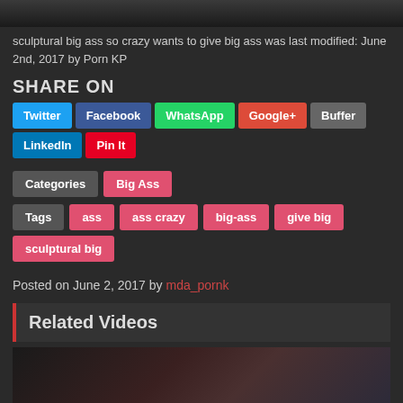[Figure (photo): Top portion of a video thumbnail image, dark/blurry]
sculptural big ass so crazy wants to give big ass was last modified: June 2nd, 2017 by Porn KP
SHARE ON
Twitter Facebook WhatsApp Google+ Buffer LinkedIn Pin It
Categories  Big Ass
Tags  ass  ass crazy  big-ass  give big  sculptural big
Posted on June 2, 2017 by mda_pornk
Related Videos
[Figure (photo): Bottom thumbnail image, dark blurry video still]